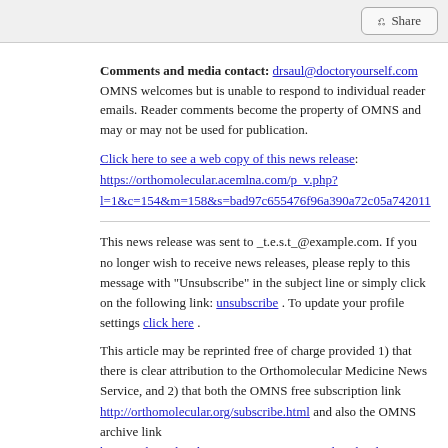Share
Comments and media contact: drsaul@doctoryourself.com OMNS welcomes but is unable to respond to individual reader emails. Reader comments become the property of OMNS and may or may not be used for publication.
Click here to see a web copy of this news release: https://orthomolecular.acemlna.com/p_v.php?l=1&c=154&m=158&s=bad97c655476f96a390a72c05a742011
This news release was sent to _t.e.s.t_@example.com. If you no longer wish to receive news releases, please reply to this message with "Unsubscribe" in the subject line or simply click on the following link: unsubscribe . To update your profile settings click here .
This article may be reprinted free of charge provided 1) that there is clear attribution to the Orthomolecular Medicine News Service, and 2) that both the OMNS free subscription link http://orthomolecular.org/subscribe.html and also the OMNS archive link http://orthomolecular.org/resources/omns/index.shtml are included.
Riordan Clinic | Orthomolecular.org
3100 N Hillside Ave
Wichita, Kansas 67219
United States